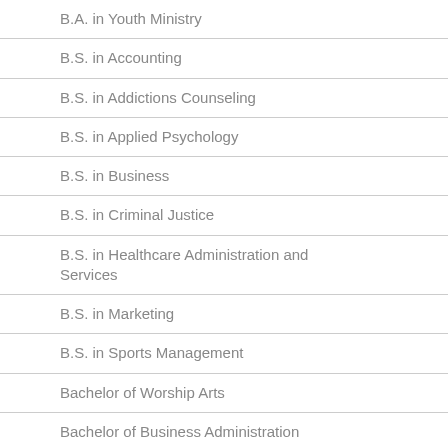B.A. in Youth Ministry
B.S. in Accounting
B.S. in Addictions Counseling
B.S. in Applied Psychology
B.S. in Business
B.S. in Criminal Justice
B.S. in Healthcare Administration and Services
B.S. in Marketing
B.S. in Sports Management
Bachelor of Worship Arts
Bachelor of Business Administration
Bachelor of Leadership & Ministry
A.A. (General)